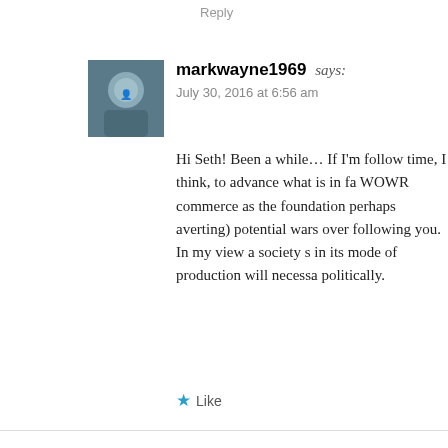Reply
markwayne1969 says:
July 30, 2016 at 6:56 am
Hi Seth! Been a while… If I'm follow- time, I think, to advance what is in fa- WOWR commerce as the foundation perhaps averting) potential wars over following you. In my view a society s- in its mode of production will necessa- politically.
Like
Tyler Healey says:
August 9, 2016 at 12:43 pm
Richard